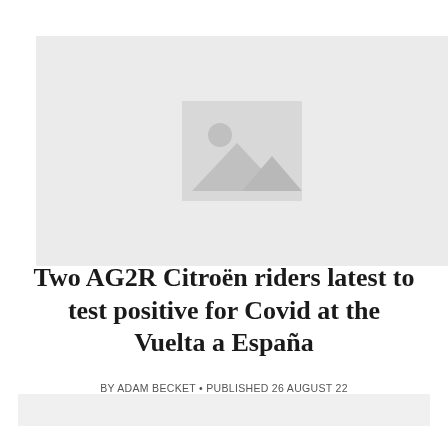[Figure (photo): Image placeholder with mountain/landscape icon on light grey background]
Two AG2R Citroën riders latest to test positive for Covid at the Vuelta a España
BY ADAM BECKET • PUBLISHED 26 AUGUST 22